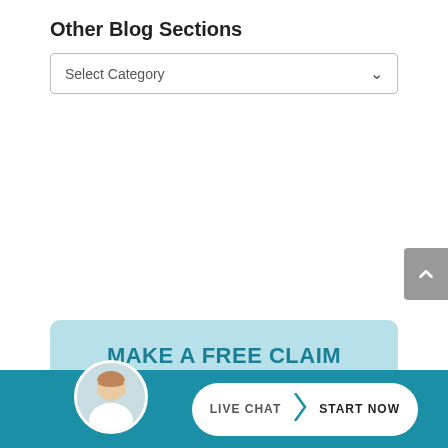Other Blog Sections
Select Category
MAKE A FREE CLAIM ENQUIRY NOW
Claim the compensation that you deserve by speaking to Russell Worth Solicitors today - free of charge.
LIVE CHAT  START NOW